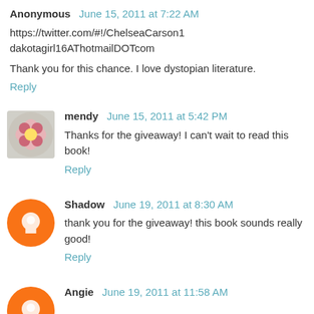Anonymous  June 15, 2011 at 7:22 AM
https://twitter.com/#!/ChelseaCarson1
dakotagirl16AThotmailDOTcom
Thank you for this chance. I love dystopian literature.
Reply
mendy  June 15, 2011 at 5:42 PM
Thanks for the giveaway! I can't wait to read this book!
Reply
Shadow  June 19, 2011 at 8:30 AM
thank you for the giveaway! this book sounds really good!
Reply
Angie  June 19, 2011 at 11:58 AM